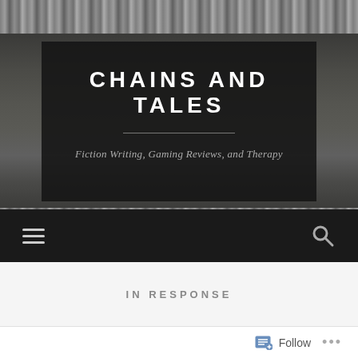[Figure (screenshot): Website header background with dark metallic chain texture at top and bottom borders, and dark wood plank texture in the middle area]
CHAINS AND TALES
Fiction Writing, Gaming Reviews, and Therapy
[Figure (screenshot): Navigation bar with hamburger menu icon on left and search magnifying glass icon on right, on dark background]
IN RESPONSE
[Figure (screenshot): WordPress Follow button with icon and ellipsis dots menu at bottom right]